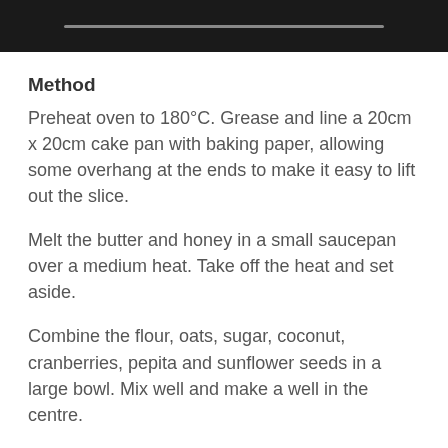Method
Preheat oven to 180°C. Grease and line a 20cm x 20cm cake pan with baking paper, allowing some overhang at the ends to make it easy to lift out the slice.
Melt the butter and honey in a small saucepan over a medium heat. Take off the heat and set aside.
Combine the flour, oats, sugar, coconut, cranberries, pepita and sunflower seeds in a large bowl. Mix well and make a well in the centre.
Combine the bi carb soda and water